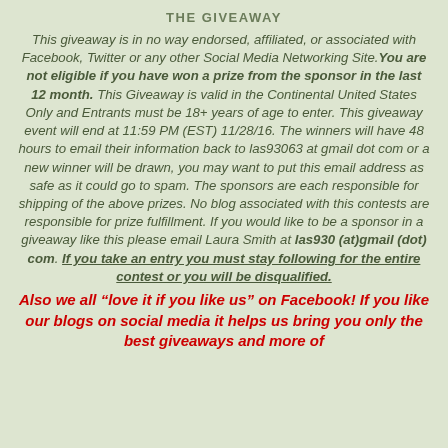THE GIVEAWAY
This giveaway is in no way endorsed, affiliated, or associated with Facebook, Twitter or any other Social Media Networking Site. You are not eligible if you have won a prize from the sponsor in the last 12 month. This Giveaway is valid in the Continental United States Only and Entrants must be 18+ years of age to enter. This giveaway event will end at 11:59 PM (EST) 11/28/16. The winners will have 48 hours to email their information back to las93063 at gmail dot com or a new winner will be drawn, you may want to put this email address as safe as it could go to spam. The sponsors are each responsible for shipping of the above prizes. No blog associated with this contests are responsible for prize fulfillment. If you would like to be a sponsor in a giveaway like this please email Laura Smith at las930 (at)gmail (dot) com. If you take an entry you must stay following for the entire contest or you will be disqualified.
Also we all “love it if you like us” on Facebook! If you like our blogs on social media it helps us bring you only the best giveaways and more of